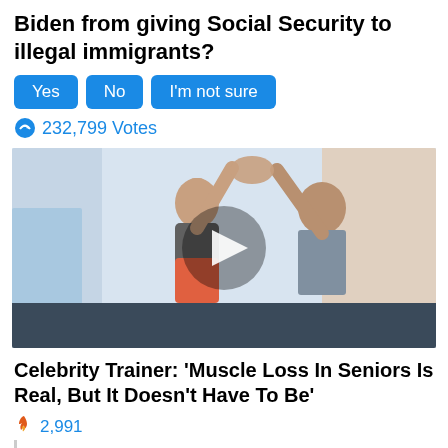Biden from giving Social Security to illegal immigrants?
Yes
No
I'm not sure
232,799 Votes
[Figure (photo): Two people high-fiving in a gym setting — a woman in athletic wear and a shirtless muscular older man with white beard, with a video play button overlay]
Celebrity Trainer: 'Muscle Loss In Seniors Is Real, But It Doesn't Have To Be'
2,991